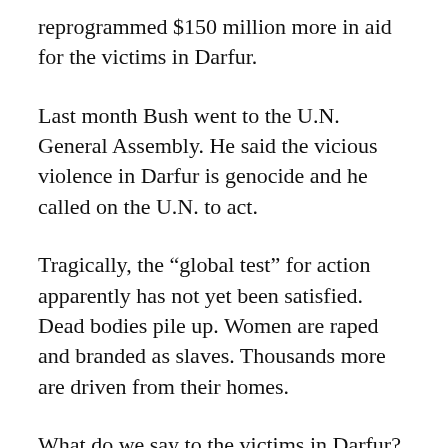reprogrammed $150 million more in aid for the victims in Darfur.
Last month Bush went to the U.N. General Assembly. He said the vicious violence in Darfur is genocide and he called on the U.N. to act.
Tragically, the “global test” for action apparently has not yet been satisfied. Dead bodies pile up. Women are raped and branded as slaves. Thousands more are driven from their homes.
What do we say to the victims in Darfur?
If the international community does not act in Darfur, where will it act? If it will not act now,